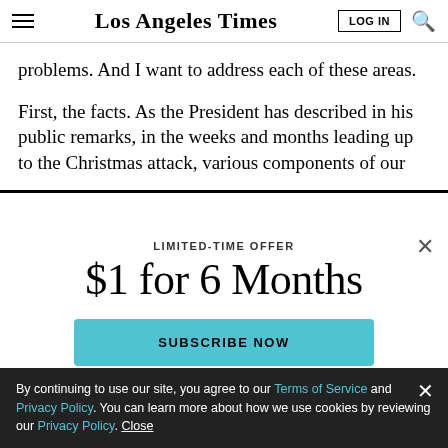Los Angeles Times
problems. And I want to address each of these areas.
First, the facts. As the President has described in his public remarks, in the weeks and months leading up to the Christmas attack, various components of our
LIMITED-TIME OFFER
$1 for 6 Months
SUBSCRIBE NOW
By continuing to use our site, you agree to our Terms of Service and Privacy Policy. You can learn more about how we use cookies by reviewing our Privacy Policy. Close